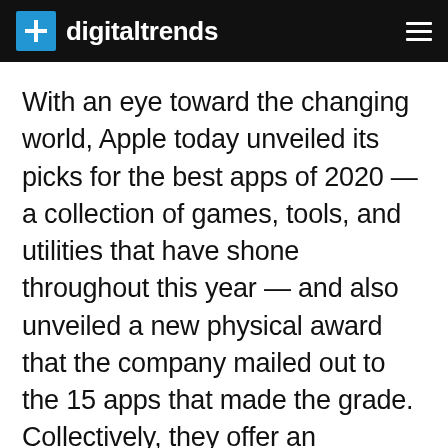digitaltrends
With an eye toward the changing world, Apple today unveiled its picks for the best apps of 2020 — a collection of games, tools, and utilities that have shone throughout this year — and also unveiled a new physical award that the company mailed out to the 15 apps that made the grade. Collectively, they offer an interesting window on the pandemic, as work and school were utterly changed, and entirely new forms of distraction were a must.